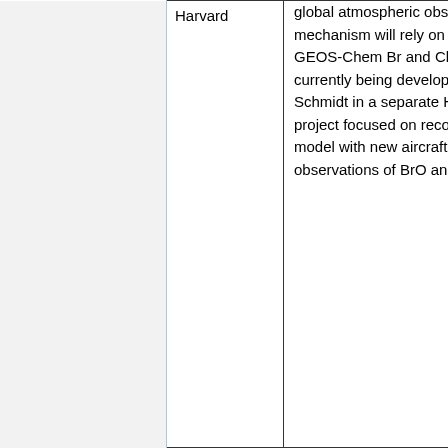| (col1) | (col2) | Description | People |
| --- | --- | --- | --- |
|  | Harvard | global atmospheric observations. The mechanism will rely on updated GEOS-Chem Br and Cl fields currently being developed by Johan Schmidt in a separate Harvard project focused on reconciling the model with new aircraft and satellite observations of BrO and HOBr. | Hannah Horowitz
Johan |